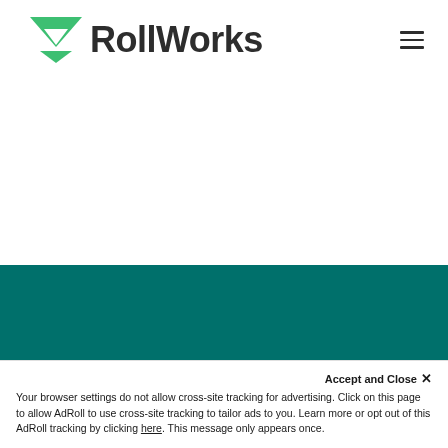[Figure (logo): RollWorks logo with green triangular arrow icon and dark bold text]
[Figure (other): Hamburger menu icon (three horizontal lines)]
[Figure (other): Teal/dark green background section]
Accept and Close ✕
Your browser settings do not allow cross-site tracking for advertising. Click on this page to allow AdRoll to use cross-site tracking to tailor ads to you. Learn more or opt out of this AdRoll tracking by clicking here. This message only appears once.